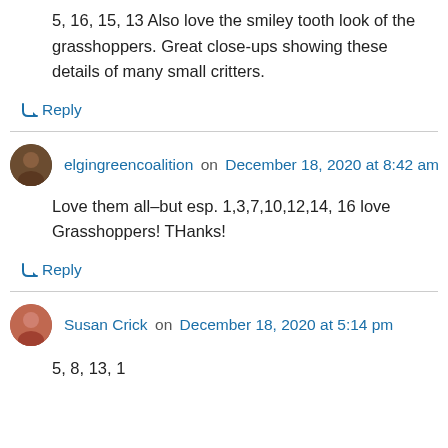5, 16, 15, 13 Also love the smiley tooth look of the grasshoppers. Great close-ups showing these details of many small critters.
↳ Reply
elgingreencoalition on December 18, 2020 at 8:42 am
Love them all–but esp. 1,3,7,10,12,14, 16 love Grasshoppers! THanks!
↳ Reply
Susan Crick on December 18, 2020 at 5:14 pm
5, 8, 13, 1